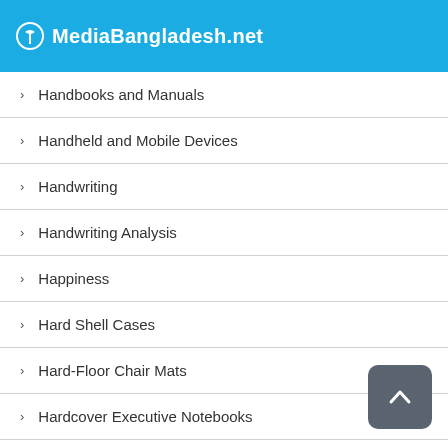MediaBangladesh.net
Handbooks and Manuals
Handheld and Mobile Devices
Handwriting
Handwriting Analysis
Happiness
Hard Shell Cases
Hard-Floor Chair Mats
Hardcover Executive Notebooks
Hardware
Hardware and DIY